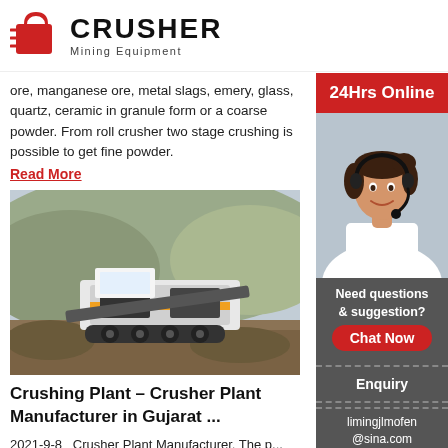[Figure (logo): Crusher Mining Equipment logo with red shopping bag icon and bold CRUSHER text]
ore, manganese ore, metal slags, emery, glass, quartz, ceramic in granule form or a coarse powder. From roll crusher two stage crushing is possible to get fine powder.
Read More
[Figure (photo): Large mobile crushing plant machine on rocky ground with hills in background]
Crushing Plant – Crusher Plant Manufacturer in Gujarat ...
2021-9-8   Crusher Plant Manufacturer. The p... are Jaw Crusher, Stone Crusher Plant, Oil Crush... Crushing Plant, 100 TPH Crusher, 50 TPH Crus... Crusher, Roll Crusher, Coal Crusher, etc. are ma... by the Royal Engineering that too are of the diff... and capacity. We are the prime crusher plant exporter in
[Figure (photo): 24Hrs Online sidebar with woman in headset, chat now button, enquiry link, and email limingjlmofen@sina.com]